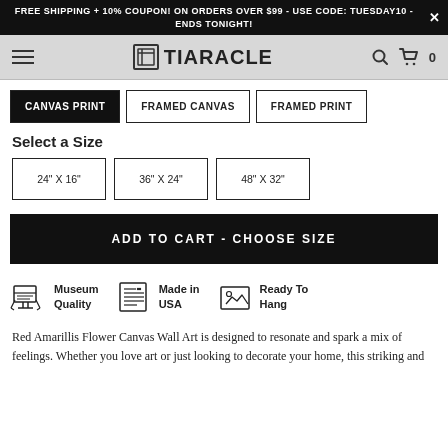FREE SHIPPING + 10% COUPON! ON ORDERS OVER $99 - USE CODE: TUESDAY10 - ENDS TONIGHT!
[Figure (logo): Tiaracle logo with navigation hamburger menu, search and cart icons]
CANVAS PRINT
FRAMED CANVAS
FRAMED PRINT
Select a Size
24" X 16"
36" X 24"
48" X 32"
ADD TO CART - CHOOSE SIZE
Museum Quality
Made in USA
Ready To Hang
Red Amarillis Flower Canvas Wall Art is designed to resonate and spark a mix of feelings. Whether you love art or just looking to decorate your home, this striking and